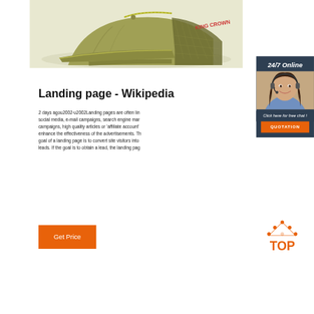[Figure (photo): Close-up photo of an olive/khaki green baseball cap with yellow-green trim and embroidery reading 'KING CROWN' on a light background.]
[Figure (photo): Customer service representative woman with headset smiling, overlaid on a dark teal sidebar panel with '24/7 Online' header, 'Click here for free chat!' text, and an orange QUOTATION button.]
Landing page - Wikipedia
2 days agou2002·u2002Landing pages are often linked to social media, e-mail campaigns, search engine marketing campaigns, high quality articles or 'affiliate account' enhance the effectiveness of the advertisements. The goal of a landing page is to convert site visitors into leads. If the goal is to obtain a lead, the landing pag...
[Figure (other): Orange 'Get Price' button]
[Figure (logo): Orange 'TOP' logo with dotted triangle/crown above the text]